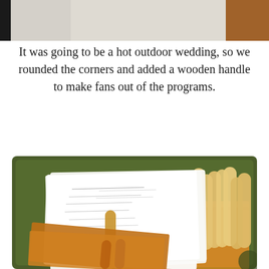[Figure (photo): Top portion of a photo showing a light-colored surface and wood/brown tones, partially cropped]
It was going to be a hot outdoor wedding, so we rounded the corners and added a wooden handle to make fans out of the programs.
[Figure (photo): Photo of a pile of wedding programs with rounded corners and wooden popsicle stick handles, stacked in a green plastic bin. Programs are white with printed text and orange/tan colored paper fans with wooden sticks visible on the right.]